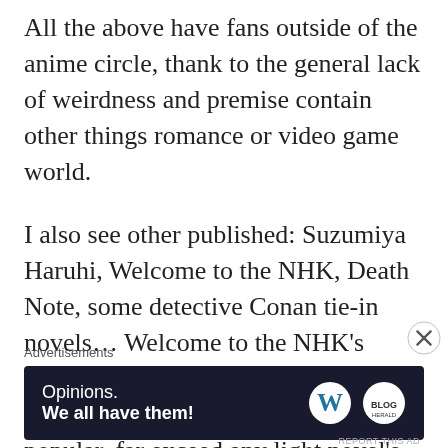All the above have fans outside of the anime circle, thank to the general lack of weirdness and premise contain other things romance or video game world.
I also see other published: Suzumiya Haruhi, Welcome to the NHK, Death Note, some detective Conan tie-in novels... Welcome to the NHK's Vietnamese translation is excellent. Haruki Murakami novels are very popular, far exceed any light novel's popularity. In fact, Japanse culture
Advertisements
[Figure (other): Advertisement banner with dark navy background. Left side shows text: 'Opinions. We all have them!' Right side shows WordPress logo (W in white circle) and another blog logo.]